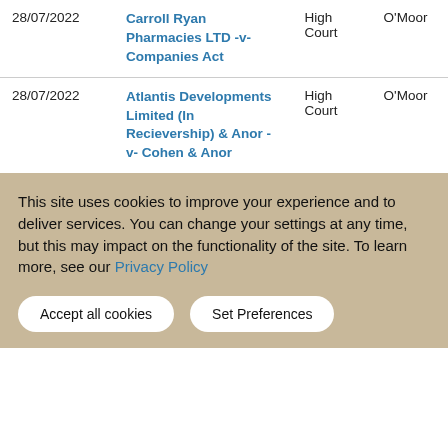| Date | Case | Court | Judge |
| --- | --- | --- | --- |
| 28/07/2022 | Carroll Ryan Pharmacies LTD -v- Companies Act | High Court | O'Moor |
| 28/07/2022 | Atlantis Developments Limited (In Recievership) & Anor -v- Cohen & Anor | High Court | O'Moor |
This site uses cookies to improve your experience and to deliver services. You can change your settings at any time, but this may impact on the functionality of the site. To learn more, see our Privacy Policy